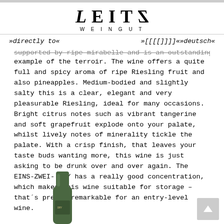LEITZ WEINGUT
»directly to«   »????«»deutsch«
supported by ripe mirabelle and is an outstanding example of the terroir. The wine offers a quite full and spicy aroma of ripe Riesling fruit and also pineapples. Medium-bodied and slightly salty this is a clear, elegant and very pleasurable Riesling, ideal for many occasions. Bright citrus notes such as vibrant tangerine and soft grapefruit explode onto your palate, whilst lively notes of minerality tickle the palate. With a crisp finish, that leaves your taste buds wanting more, this wine is just asking to be drunk over and over again. The EINS-ZWEI-DRY has a really good concentration, which makes this wine suitable for storage – that´s pretty remarkable for an entry-level wine.
[Figure (photo): Green wine bottle bottom/neck partially visible at bottom left of page]